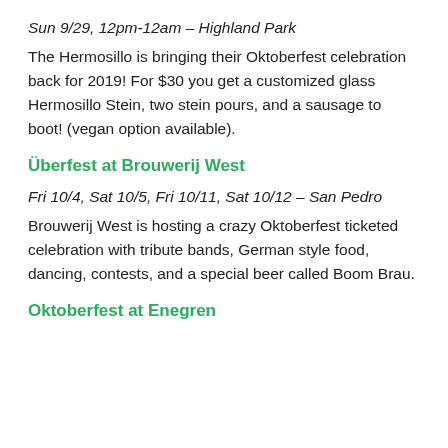Sun 9/29, 12pm-12am – Highland Park
The Hermosillo is bringing their Oktoberfest celebration back for 2019! For $30 you get a customized glass Hermosillo Stein, two stein pours, and a sausage to boot! (vegan option available).
Überfest at Brouwerij West
Fri 10/4, Sat 10/5, Fri 10/11, Sat 10/12 – San Pedro
Brouwerij West is hosting a crazy Oktoberfest ticketed celebration with tribute bands, German style food, dancing, contests, and a special beer called Boom Brau.
Oktoberfest at Enegren